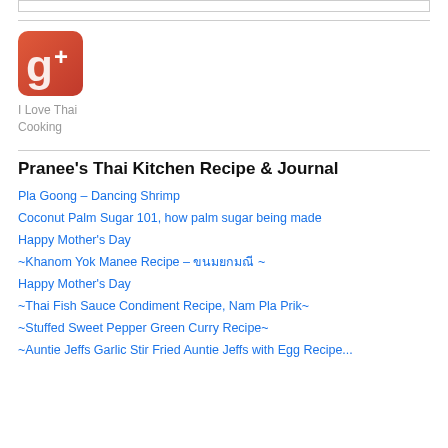[Figure (logo): Google+ logo icon — red rounded square with white 'g+' symbol]
I Love Thai Cooking
Pranee's Thai Kitchen Recipe & Journal
Pla Goong – Dancing Shrimp
Coconut Palm Sugar 101, how palm sugar being made
Happy Mother's Day
~Khanom Yok Manee Recipe – ขนมยกมณี ~
Happy Mother's Day
~Thai Fish Sauce Condiment Recipe, Nam Pla Prik~
~Stuffed Sweet Pepper Green Curry Recipe~